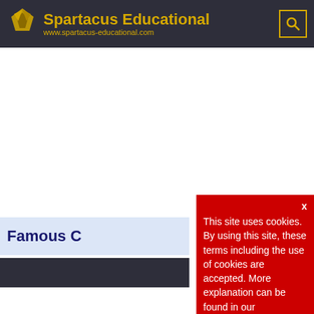Spartacus Educational — www.spartacus-educational.com
Famous C[riminals]
This site uses cookies. By using this site, these terms including the use of cookies are accepted. More explanation can be found in our